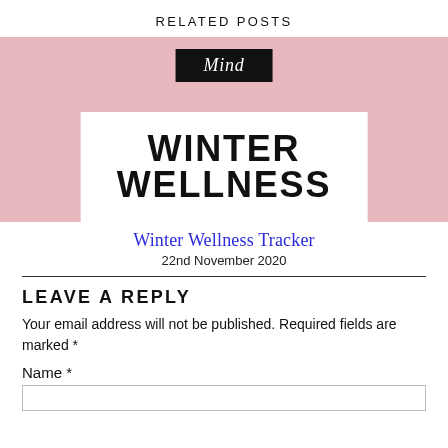RELATED POSTS
[Figure (illustration): Blog post thumbnail with pink background, a black label reading 'Mind' in italic script at top center, and a white card overlay showing large bold text 'WINTER WELLNESS' partially cropped]
Winter Wellness Tracker
22nd November 2020
LEAVE A REPLY
Your email address will not be published. Required fields are marked *
Name *